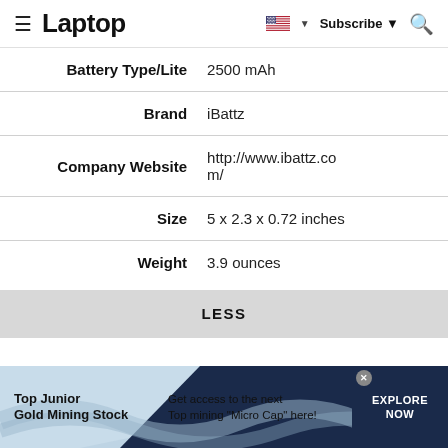Laptop | Subscribe
| Label | Value |
| --- | --- |
| Battery Type/Lite | 2500 mAh |
| Brand | iBattz |
| Company Website | http://www.ibattz.com/ |
| Size | 5 x 2.3 x 0.72 inches |
| Weight | 3.9 ounces |
LESS
[Figure (infographic): Advertisement banner: Top Junior Gold Mining Stock — Get access to the next Top mining "Micro Cap" here! — EXPLORE NOW]